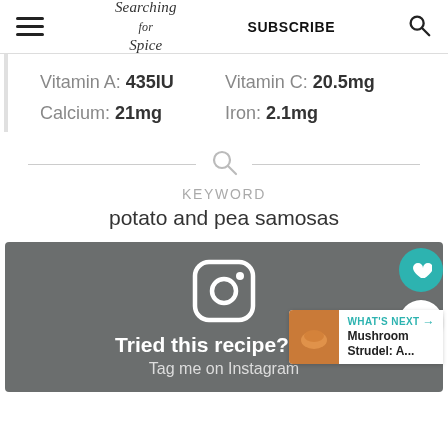Searching for Spice | SUBSCRIBE
Vitamin A: 435IU  Vitamin C: 20.5mg  Calcium: 21mg  Iron: 2.1mg
KEYWORD
potato and pea samosas
[Figure (other): Instagram card with Instagram logo, text 'Tried this recipe? Tag me on Instagram @searchingforspice']